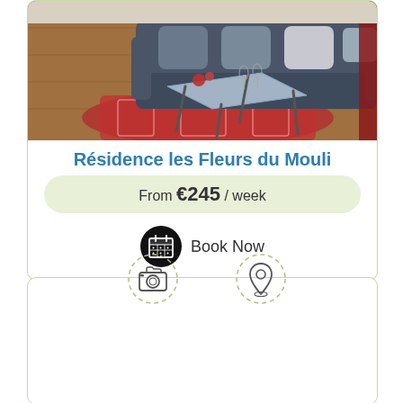[Figure (photo): Interior photo of a living room with a dark grey sofa, glass coffee table on a red patterned rug, and parquet flooring]
Résidence les Fleurs du Mouli
From €245 / week
Book Now
[Figure (other): Card section with dashed-circle camera icon on the left and dashed-circle location pin icon on the right]